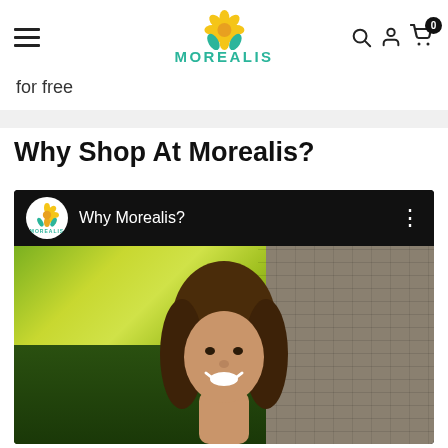MOREALIS (logo with flower icon, hamburger menu, search, user, cart with 0 badge)
for free
Why Shop At Morealis?
[Figure (screenshot): YouTube-style video thumbnail showing 'Why Morealis?' with Morealis logo in a white circle, a smiling woman with long brown hair in front of a stone wall and leafy green/yellow foliage background.]